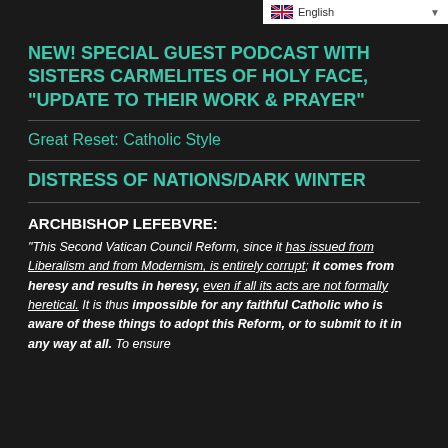[Figure (screenshot): English language selector dropdown in top right corner with UK flag]
NEW! SPECIAL GUEST PODCAST WITH SISTERS CARMELITES OF HOLY FACE, “UPDATE TO THEIR WORK & PRAYER”
Great Reset: Catholic Style
DISTRESS OF NATIONS/DARK WINTER
ARCHBISHOP LEFEBVRE:
“This Second Vatican Council Reform, since it has issued from Liberalism and from Modernism, is entirely corrupt; it comes from heresy and results in heresy, even if all its acts are not formally heretical. It is thus impossible for any faithful Catholic who is aware of these things to adopt this Reform, or to submit to it in any way at all. To ensure